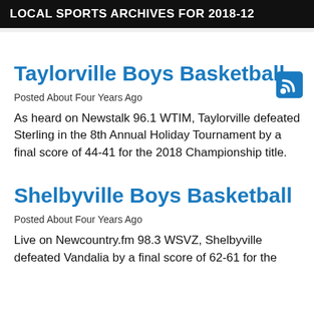LOCAL SPORTS ARCHIVES FOR 2018-12
[Figure (logo): RSS feed icon in blue]
Taylorville Boys Basketball
Posted About Four Years Ago
As heard on Newstalk 96.1 WTIM, Taylorville defeated Sterling in the 8th Annual Holiday Tournament by a final score of 44-41 for the 2018 Championship title.
Shelbyville Boys Basketball
Posted About Four Years Ago
Live on Newcountry.fm 98.3 WSVZ, Shelbyville defeated Vandalia by a final score of 62-61 for the